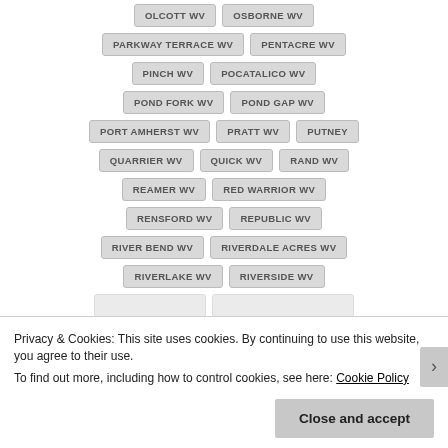OLCOTT WV
OSBORNE WV
PARKWAY TERRACE WV
PENTACRE WV
PINCH WV
POCATALICO WV
POND FORK WV
POND GAP WV
PORT AMHERST WV
PRATT WV
PUTNEY
QUARRIER WV
QUICK WV
RAND WV
REAMER WV
RED WARRIOR WV
RENSFORD WV
REPUBLIC WV
RIVER BEND WV
RIVERDALE ACRES WV
RIVERLAKE WV
RIVERSIDE WV
Privacy & Cookies: This site uses cookies. By continuing to use this website, you agree to their use.
To find out more, including how to control cookies, see here: Cookie Policy
Close and accept